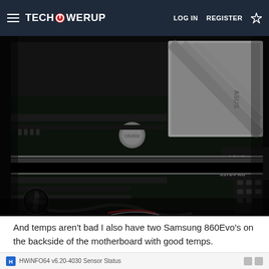TECHPOWERUP  LOG IN  REGISTER
[Figure (photo): ASUS PRIME X570-PRO motherboard installed in a PC case, showing the PCIe slots, M.2 heatsink with ASUS branding, and various components in a dark chassis.]
And temps aren't bad I also have two Samsung 860Evo's on the backside of the motherboard with good temps.
HWiNFO64 v6.20-4030 Sensor Status